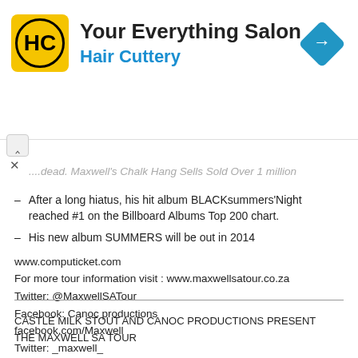[Figure (logo): Hair Cuttery advertisement banner with HC logo, text 'Your Everything Salon' and 'Hair Cuttery', and a blue navigation arrow icon]
...dead. Maxwell's Chalk Hang Sells Sold Over 1 million ...
After a long hiatus, his hit album BLACKsummers'Night reached #1 on the Billboard Albums Top 200 chart.
His new album SUMMERS will be out in 2014
www.computicket.com
For more tour information visit : www.maxwellsatour.co.za
Twitter: @MaxwellSATour
Facebook: Canoc productions
facebook.com/Maxwell
Twitter: _maxwell_
CASTLE MILK STOUT AND CANOC PRODUCTIONS PRESENT
THE MAXWELL SA TOUR